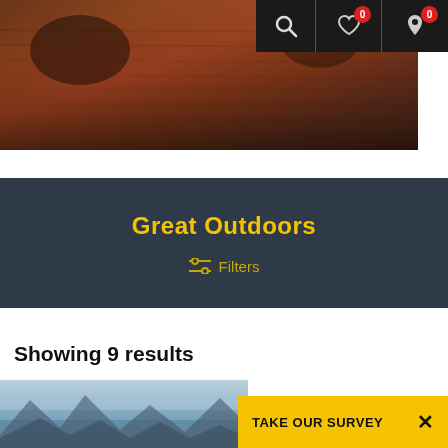[Figure (screenshot): Website navigation bar with search icon, heart/favorites icon with badge 0, and location pin icon with badge 0, on dark background]
[Figure (photo): Outdoor landscape photo showing a lake at sunset/dusk with reflections of trees and warm orange-brown tones on the water surface]
Great Outdoors
Filters
Showing 9 results
[Figure (photo): Misty mountain landscape with blue-grey tones and fog]
TAKE OUR SURVEY